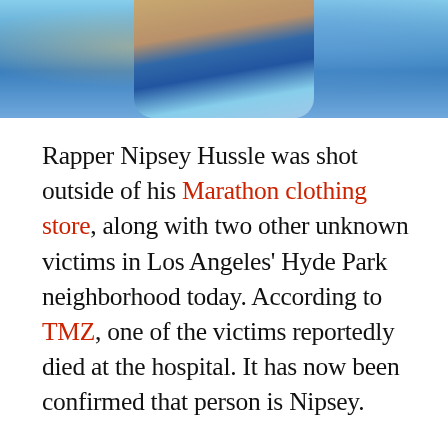[Figure (photo): Photo of Nipsey Hussle wearing blue and gold clothing, cropped at top of page]
Rapper Nipsey Hussle was shot outside of his Marathon clothing store, along with two other unknown victims in Los Angeles' Hyde Park neighborhood today. According to TMZ, one of the victims reportedly died at the hospital. It has now been confirmed that person is Nipsey.